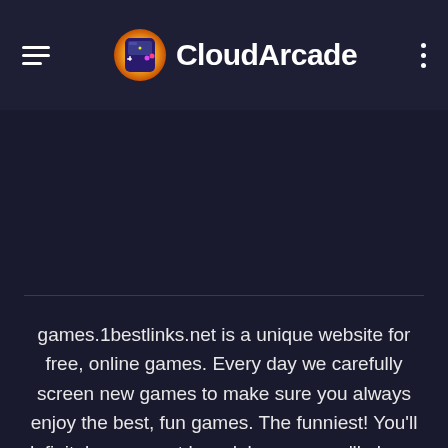CloudArcade
games.1bestlinks.net is a unique website for free, online games. Every day we carefully screen new games to make sure you always enjoy the best, fun games. The funniest! You'll definitely never get bored, because we'll always recommend the most suitable games, based on the ones you like. We carefully calculate to make sure you'll never now have to miss the latest sports game, if you love sports,